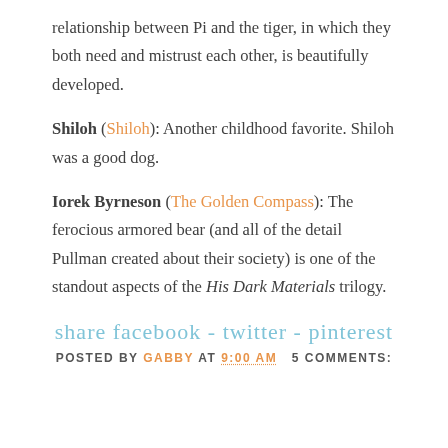relationship between Pi and the tiger, in which they both need and mistrust each other, is beautifully developed.
Shiloh (Shiloh): Another childhood favorite. Shiloh was a good dog.
Iorek Byrneson (The Golden Compass): The ferocious armored bear (and all of the detail Pullman created about their society) is one of the standout aspects of the His Dark Materials trilogy.
share facebook - twitter - pinterest
POSTED BY GABBY AT 9:00 AM  5 COMMENTS: